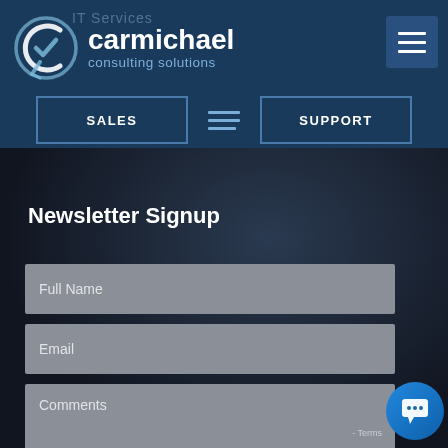[Figure (screenshot): Carmichael Consulting Solutions website header with logo, navigation buttons (SALES, SUPPORT), and hamburger menu]
Newsletter Signup
[Figure (other): Full Name input field (grey placeholder text)]
[Figure (other): Email input field (grey placeholder text)]
[Figure (other): Comments textarea field (grey placeholder text)]
[Figure (other): Blue circular chat widget button in bottom-right corner]
Terms